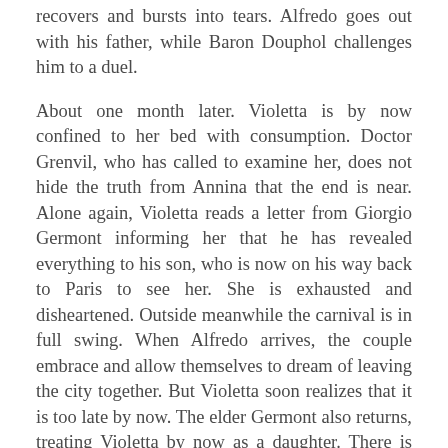recovers and bursts into tears. Alfredo goes out with his father, while Baron Douphol challenges him to a duel.
About one month later. Violetta is by now confined to her bed with consumption. Doctor Grenvil, who has called to examine her, does not hide the truth from Annina that the end is near. Alone again, Violetta reads a letter from Giorgio Germont informing her that he has revealed everything to his son, who is now on his way back to Paris to see her. She is exhausted and disheartened. Outside meanwhile the carnival is in full swing. When Alfredo arrives, the couple embrace and allow themselves to dream of leaving the city together. But Violetta soon realizes that it is too late by now. The elder Germont also returns, treating Violetta by now as a daughter. There is little time left. Violetta gives Alfredo a portrait of herself and exhorts him not feel in any way tied, after her death. With one last fleeting sign of life, she dies, to the consternation of all present.